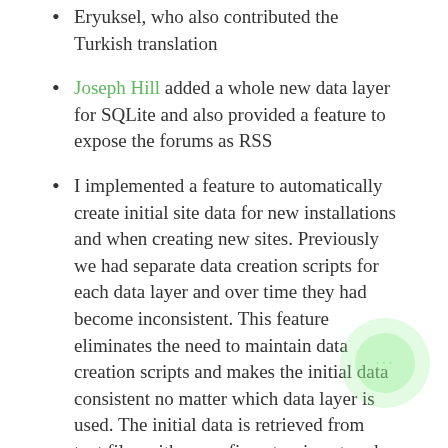Eryuksel, who also contributed the Turkish translation
Joseph Hill added a whole new data layer for SQLite and also provided a feature to expose the forums as RSS
I implemented a feature to automatically create initial site data for new installations and when creating new sites. Previously we had separate data creation scripts for each data layer and over time they had become inconsistent. This feature eliminates the need to maintain data creation scripts and makes the initial data consistent no matter which data layer is used. The initial data is retrieved from text files with a .config extension stored under Data/MessageTemplates and can be localized or customized